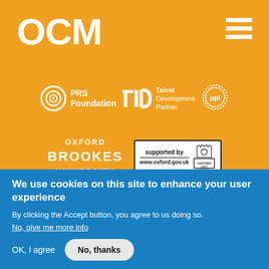[Figure (logo): OCM logo in bold white text on orange background]
[Figure (logo): Hamburger menu icon (three white horizontal bars) top right]
[Figure (logo): PRS Foundation logo with circular emblem and white text]
[Figure (logo): TDP Talent Development Partner logo in white]
[Figure (logo): PPL logo in circular badge]
[Figure (logo): Oxford Brookes University logo in white text]
[Figure (logo): Supported by Oxford City Council badge with www.oxford.gov.uk]
info@ocmevents.org | 01865 484777
OCM, Headington Hill Hall, Oxford Brookes University
We use cookies on this site to enhance your user experience
By clicking the Accept button, you agree to us doing so.
No, give me more info
OK, I agree
No, thanks